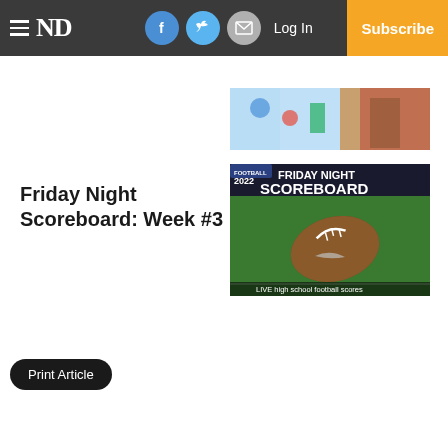≡ ND | [Facebook] [Twitter] [Email] Log In | Subscribe
[Figure (photo): Advertisement image with colorful products visible]
Friday Night Scoreboard: Week #3
[Figure (photo): Football 2022 Friday Night Scoreboard – LIVE high school football scores, showing a football on grass field]
Print Article